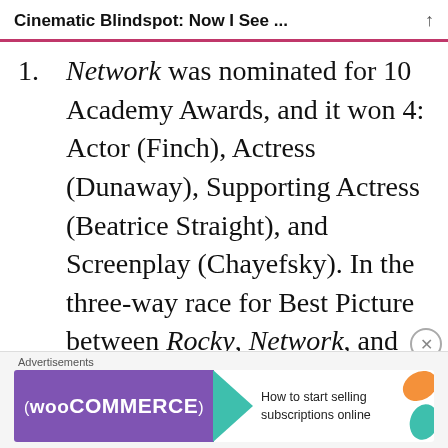Cinematic Blindspot: Now I See ...
Network was nominated for 10 Academy Awards, and it won 4: Actor (Finch), Actress (Dunaway), Supporting Actress (Beatrice Straight), and Screenplay (Chayefsky). In the three-way race for Best Picture between Rocky, Network, and All the President's
[Figure (infographic): WooCommerce advertisement banner: 'How to start selling subscriptions online']